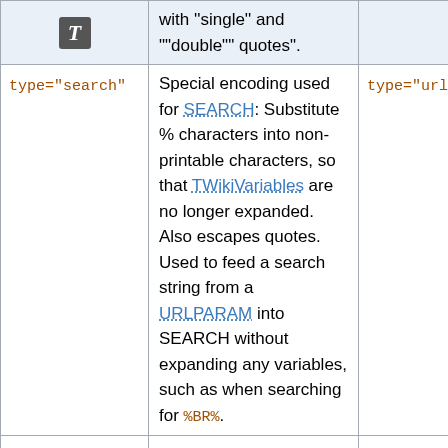| Parameter | Description | Related |
| --- | --- | --- |
| [icon T] | with ''single'' and ""double"" quotes". |  |
| type="search" | Special encoding used for SEARCH: Substitute % characters into non-printable characters, so that TWikiVariables are no longer expanded. Also escapes quotes. Used to feed a search string from a URLPARAM into SEARCH without expanding any variables, such as when searching for %BR%. | type="url" |
| newline="..." | Replace a newline with the specified |  |